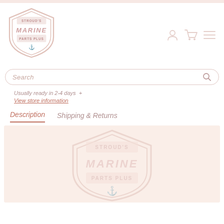[Figure (logo): Stroud's Marine Parts Plus shield logo in header]
Search
Usually ready in 2-4 days
View store information
Description
Shipping & Returns
[Figure (logo): Stroud's Marine Parts Plus watermark logo in description area]